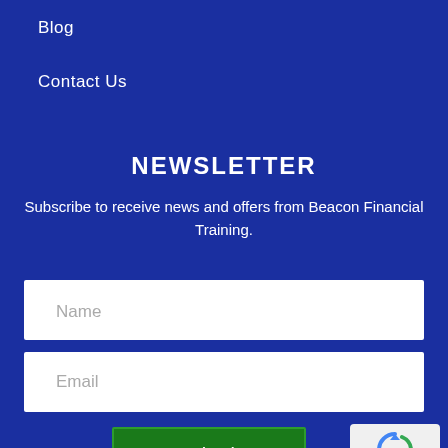Blog
Contact Us
NEWSLETTER
Subscribe to receive news and offers from Beacon Financial Training.
[Figure (other): Name input field placeholder]
[Figure (other): Email input field placeholder]
[Figure (other): Submit button]
[Figure (other): reCAPTCHA badge with Privacy and Terms links]